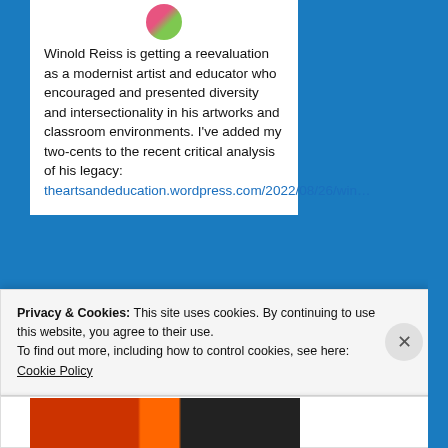Winold Reiss is getting a reevaluation as a modernist artist and educator who encouraged and presented diversity and intersectionality in his artworks and classroom environments. I've added my two-cents to the recent critical analysis of his legacy: theartsandeducation.wordpress.com/2022/08/26/win…
Privacy & Cookies: This site uses cookies. By continuing to use this website, you agree to their use.
To find out more, including how to control cookies, see here:
Cookie Policy
Close and accept